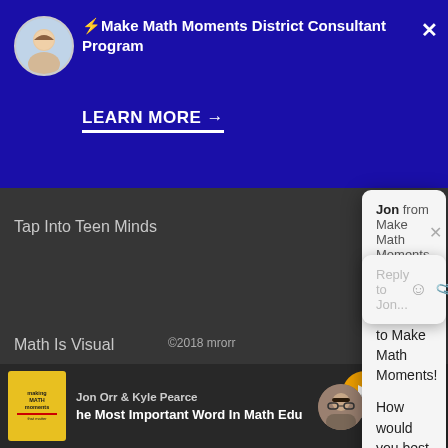⚡Make Math Moments District Consultant Program
LEARN MORE →
Tap Into Teen Minds
Math Is Visual
Jon from Make Math Moments
Hi there,
Welcome to Make Math Moments!
How would you best describe your role in education?
Reply to Jon...
©2018 mrorr
Jon Orr & Kyle Pearce
he Most Important Word In Math Edu